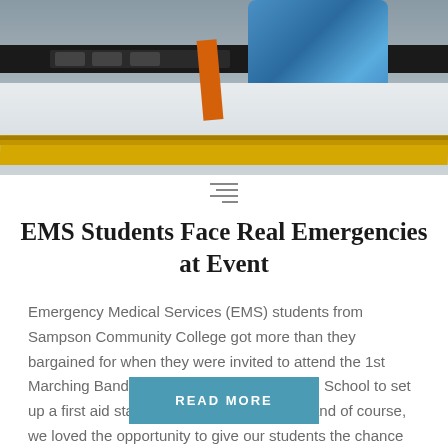[Figure (photo): Photo of ambulance stretcher equipment with yellow rails, black bar, blue medical bag, white sheets, and orange strap]
EMS Students Face Real Emergencies at Event
Emergency Medical Services (EMS) students from Sampson Community College got more than they bargained for when they were invited to attend the 1st Marching Band Competition at Midway High School to set up a first aid station. “The event was huge and of course, we loved the opportunity to give our students the chance to…
READ MORE